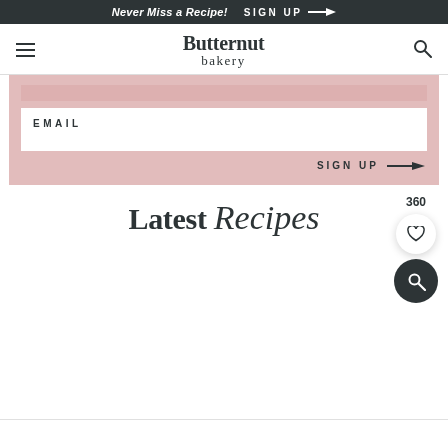Never Miss a Recipe!  SIGN UP →
Butternut bakery
EMAIL
SIGN UP →
Latest Recipes
360